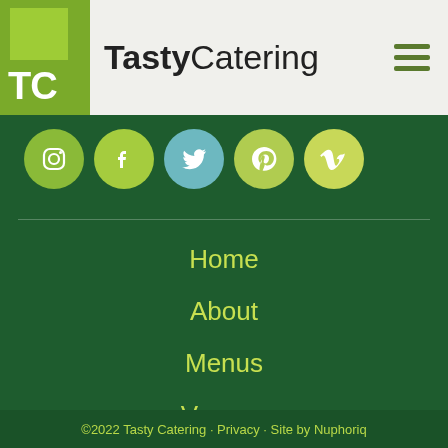TastyCatering
[Figure (logo): TC logo in green square with social media icons: Instagram, Facebook, Twitter, Pinterest, Vimeo]
Home
About
Menus
Venues
Locations
Contact
©2022 Tasty Catering · Privacy · Site by Nuphoriq